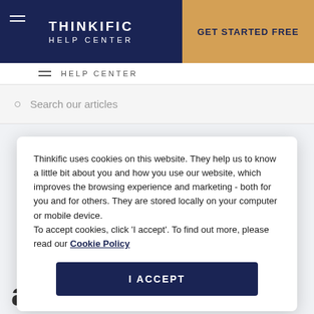THINKIFIC HELP CENTER | GET STARTED FREE
Search our articles
Thinkific uses cookies on this website. They help us to know a little bit about you and how you use our website, which improves the browsing experience and marketing - both for you and for others. They are stored locally on your computer or mobile device.
To accept cookies, click 'I accept'. To find out more, please read our Cookie Policy
I ACCEPT
affiliates?